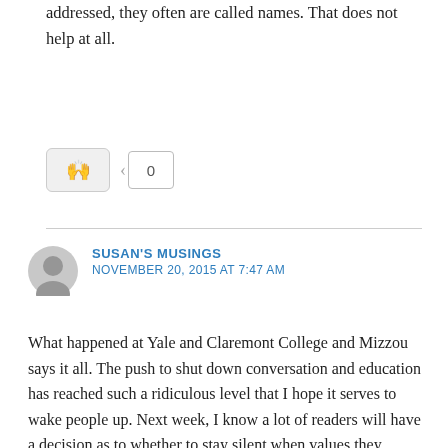addressed, they often are called names. That does not help at all.
[Figure (other): Vote/reaction button with praying hands emoji and vote count of 0]
SUSAN'S MUSINGS
NOVEMBER 20, 2015 AT 7:47 AM
What happened at Yale and Claremont College and Mizzou says it all. The push to shut down conversation and education has reached such a ridiculous level that I hope it serves to wake people up. Next week, I know a lot of readers will have a decision as to whether to stay silent when values they believe in are bashed at the Thanksgiving table or whether and how to speak up. I do encourage anyone expecting that clash to read Tim Daughtry's book, Waking the Sleeping Giant. He has great tips for how to speak so you don't get mean or tongue-tied or